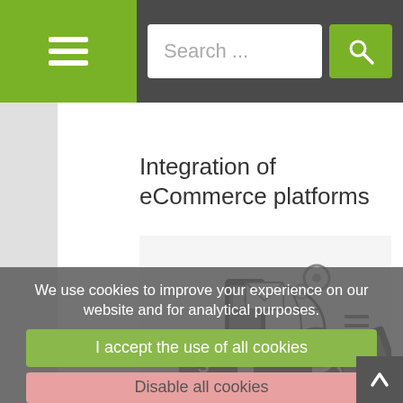[Figure (screenshot): Website navigation bar with hamburger menu icon on green background, search input field, and green search button with magnifying glass icon]
Integration of eCommerce platforms
[Figure (illustration): Grayscale illustration of eCommerce related icons: smartphone, globe, shopping cart, delivery truck, credit card, tablet, magnifying glass, gears, and other digital commerce elements floating together]
We use cookies to improve your experience on our website and for analytical purposes.
I accept the use of all cookies
Disable all cookies